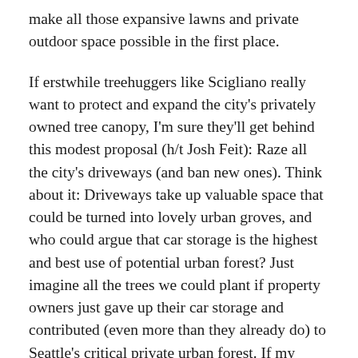make all those expansive lawns and private outdoor space possible in the first place.
If erstwhile treehuggers like Scigliano really want to protect and expand the city's privately owned tree canopy, I'm sure they'll get behind this modest proposal (h/t Josh Feit): Raze all the city's driveways (and ban new ones). Think about it: Driveways take up valuable space that could be turned into lovely urban groves, and who could argue that car storage is the highest and best use of potential urban forest? Just imagine all the trees we could plant if property owners just gave up their car storage and contributed (even more than they already do) to Seattle's critical private urban forest. If my proposal goes through, lawn superfans like Scigliano will probably be able to stop paying any attention at all to Seattle's struggling publicly owned trees (like the ones homeowners sometimes plant in public planting strips and then forget) and focus exclusively on maintaining the only urban forest that really matters: Beautiful trees on private